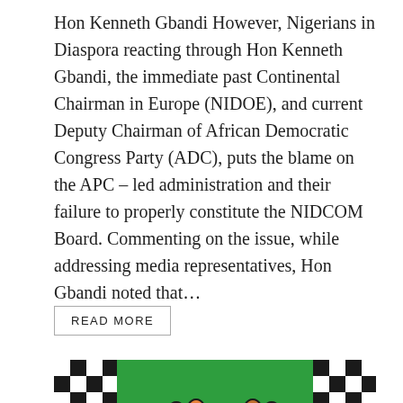Hon Kenneth Gbandi However, Nigerians in Diaspora reacting through Hon Kenneth Gbandi, the immediate past Continental Chairman in Europe (NIDOE), and current Deputy Chairman of African Democratic Congress Party (ADC), puts the blame on the APC – led administration and their failure to properly constitute the NIDCOM Board. Commenting on the issue, while addressing media representatives, Hon Gbandi noted that…
READ MORE
[Figure (illustration): ADC (African Democratic Congress) party logo showing two hands shaking — one orange, one dark — over a green background, with large white letters 'ADC' partially visible at the bottom. The logo includes checkered black and white sleeve patterns on each arm.]